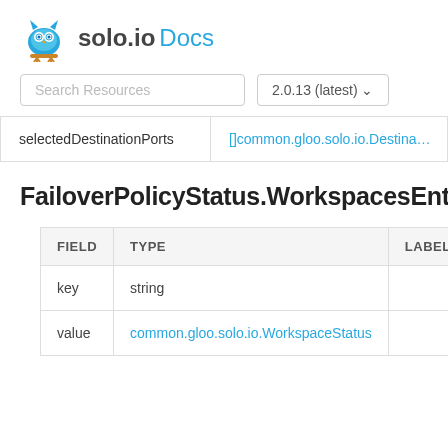solo.io Docs
| selectedDestinationPorts | []common.gloo.solo.io.Destina… |
| --- | --- |
FailoverPolicyStatus.WorkspacesEntry
| FIELD | TYPE | LABEL |
| --- | --- | --- |
| key | string |  |
| value | common.gloo.solo.io.WorkspaceStatus |  |